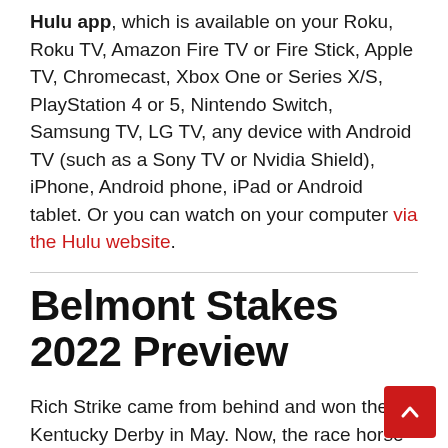Hulu app, which is available on your Roku, Roku TV, Amazon Fire TV or Fire Stick, Apple TV, Chromecast, Xbox One or Series X/S, PlayStation 4 or 5, Nintendo Switch, Samsung TV, LG TV, any device with Android TV (such as a Sony TV or Nvidia Shield), iPhone, Android phone, iPad or Android tablet. Or you can watch on your computer via the Hulu website.
Belmont Stakes 2022 Preview
Rich Strike came from behind and won the Kentucky Derby in May. Now, the race horse goes for the Belmont Stakes crown.